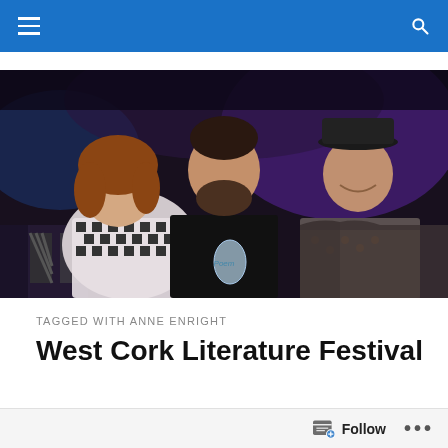[Figure (photo): Three people posing together at an evening event. A woman in a black-and-white houndstooth top on the left, a bearded man in a black shirt holding a glass award trophy in the center, and a man in a black hat and patterned shirt on the right. Purple and blue lighting in the background.]
TAGGED WITH ANNE ENRIGHT
West Cork Literature Festival
The first batch of world-famous West Cork Literary Festival writing workshops are now on sale. I'm honoured to say I'll